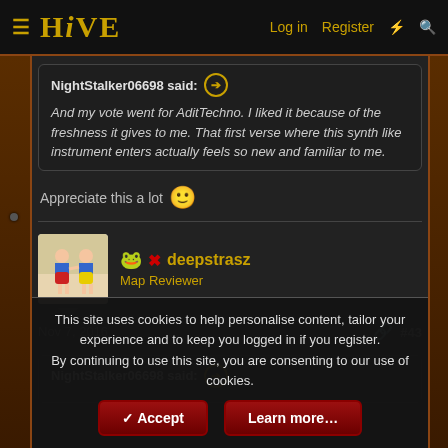HIVE | Log in | Register
NightStalker06698 said: ➔  And my vote went for AditTechno. I liked it because of the freshness it gives to me. That first verse where this synth like instrument enters actually feels so new and familiar to me.
Appreciate this a lot 🙂
deepstrasz - Map Reviewer
Nov 7, 2016  #43
NightStalker06698 said: ➔
This site uses cookies to help personalise content, tailor your experience and to keep you logged in if you register. By continuing to use this site, you are consenting to our use of cookies.
Accept | Learn more...